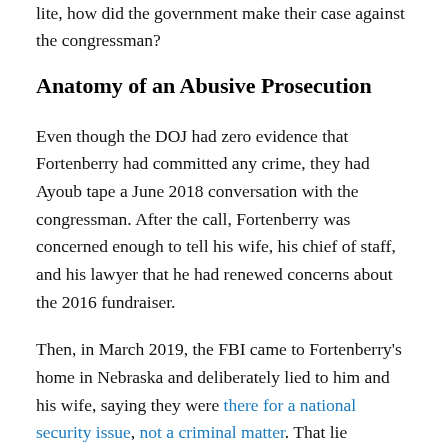lite, how did the government make their case against the congressman?
Anatomy of an Abusive Prosecution
Even though the DOJ had zero evidence that Fortenberry had committed any crime, they had Ayoub tape a June 2018 conversation with the congressman. After the call, Fortenberry was concerned enough to tell his wife, his chief of staff, and his lawyer that he had renewed concerns about the 2016 fundraiser.
Then, in March 2019, the FBI came to Fortenberry's home in Nebraska and deliberately lied to him and his wife, saying they were there for a national security issue, not a criminal matter. That lie disarmed Fortenberry, striking him as believable because of his service on a subcommittee of